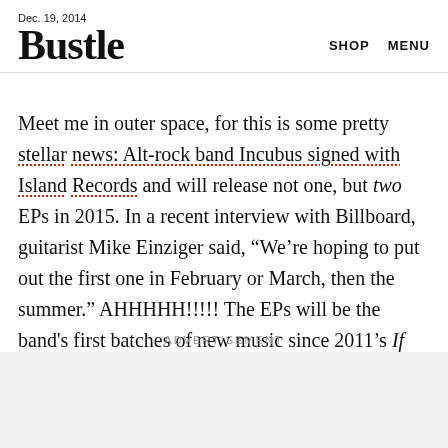Dec. 19, 2014
Bustle
SHOP   MENU
Meet me in outer space, for this is some pretty stellar news: Alt-rock band Incubus signed with Island Records and will release not one, but two EPs in 2015. In a recent interview with Billboard, guitarist Mike Einziger said, “We’re hoping to put out the first one in February or March, then the summer.” AHHHHH!!!!! The EPs will be the band’s first batches of new music since 2011’s If Not Now, When?
ADVERTISEMENT